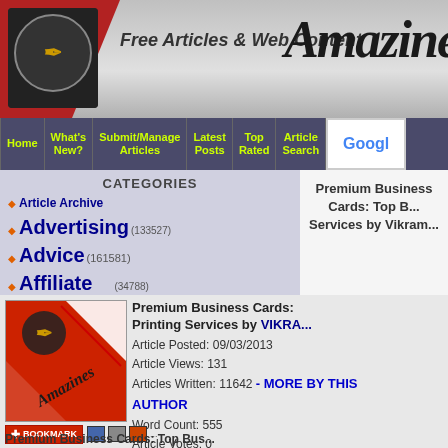[Figure (screenshot): Website header for Amazines.com with logo, tagline 'Free Articles & Web Content', and brand name in gothic font]
Home | What's New? | Submit/Manage Articles | Latest Posts | Top Rated | Article Search | Google
CATEGORIES
Article Archive
Advertising (133527)
Advice (161581)
Affiliate Programs (34788)
Art and Culture (73842)
Automotive (145683)
Blogs (75446)
Boating (9851)
Books (17221)
Buddhism (4129)
Business (1330099)
Business News (426438)
Business Opportunities (366486)
Premium Business Cards: Top B... Services by Vikram...
[Figure (logo): Amazines.com logo thumbnail - red background with gothic brand name]
Premium Business Cards: Top Business Card Printing Services by VIKRAM
Article Posted: 09/03/2013
Article Views: 131
Articles Written: 11642 - MORE BY THIS AUTHOR
Word Count: 555
Article Votes: 0
Premium Business Cards: Top Bus...